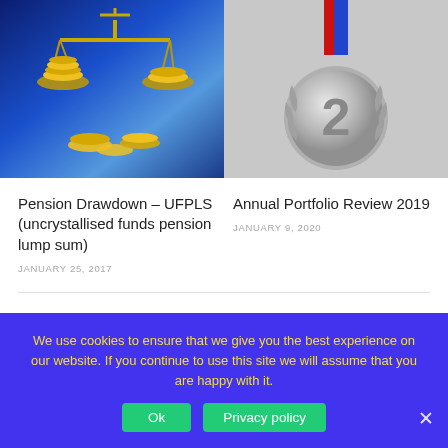[Figure (photo): Gold coins on a balance scale with blue background]
[Figure (photo): Silver medal with number 2, with red and blue ribbon]
Pension Drawdown – UFPLS (uncrystallised funds pension lump sum)
JANUARY 25, 2017
Annual Portfolio Review 2019
JANUARY 9, 2020
10 RESPONSES
We use cookies to ensure that we give you the best experience on our website. If you continue to use this site we will assume that you are happy with it.